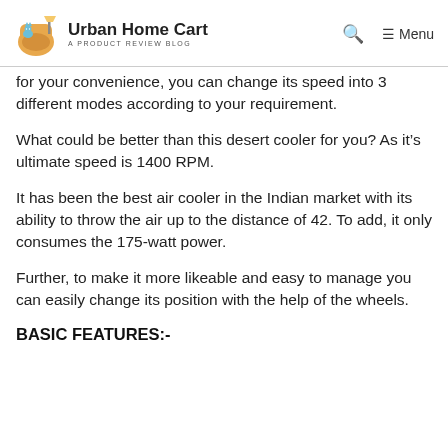Urban Home Cart — A PRODUCT REVIEW BLOG
for your convenience, you can change its speed into 3 different modes according to your requirement.
What could be better than this desert cooler for you? As it's ultimate speed is 1400 RPM.
It has been the best air cooler in the Indian market with its ability to throw the air up to the distance of 42. To add, it only consumes the 175-watt power.
Further, to make it more likeable and easy to manage you can easily change its position with the help of the wheels.
BASIC FEATURES:-